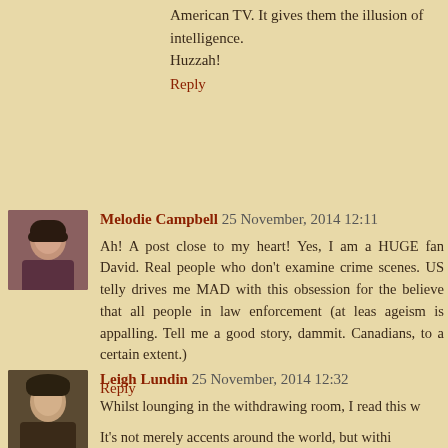American TV. It gives them the illusion of intelligence. Huzzah!
Reply
Melodie Campbell 25 November, 2014 12:11
Ah! A post close to my heart! Yes, I am a HUGE fan David. Real people who don't examine crime scenes. US telly drives me MAD with this obsession for the believe that all people in law enforcement (at leas ageism is appalling. Tell me a good story, dammit. Canadians, to a certain extent.)
Reply
Leigh Lundin 25 November, 2014 12:32
Whilst lounging in the withdrawing room, I read this w
It's not merely accents around the world, but withi